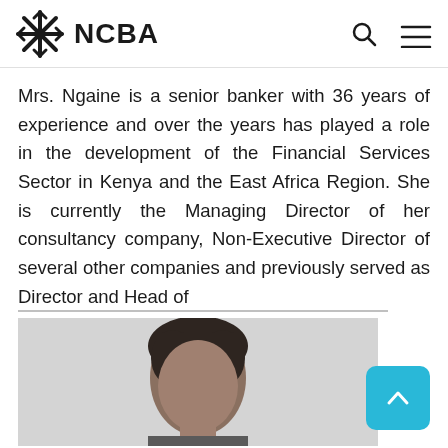NCBA
Mrs. Ngaine is a senior banker with 36 years of experience and over the years has played a role in the development of the Financial Services Sector in Kenya and the East Africa Region. She is currently the Managing Director of her consultancy company, Non-Executive Director of several other companies and previously served as Director and Head of
Read More
[Figure (photo): Portrait photo of a person with dark hair against a light grey background, cropped to show head and upper shoulders]